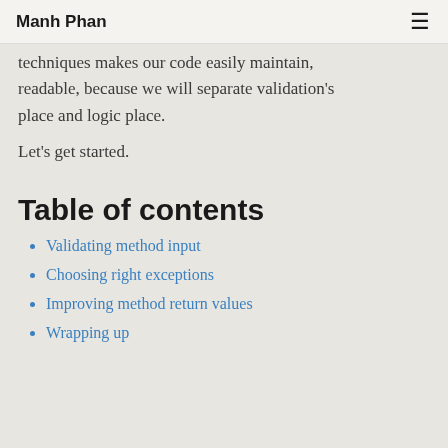Manh Phan
techniques makes our code easily maintain, readable, because we will separate validation's place and logic place.
Let's get started.
Table of contents
Validating method input
Choosing right exceptions
Improving method return values
Wrapping up